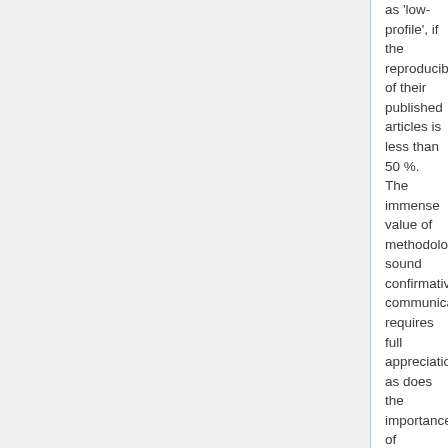as 'low-profile', if the reproducibility of their published articles is less than 50 %. The immense value of methodologically sound confirmative communications requires full appreciation, as does the importance of reproducibly contradictory results. It is difficult but important to define the drivers of scientific commercialism